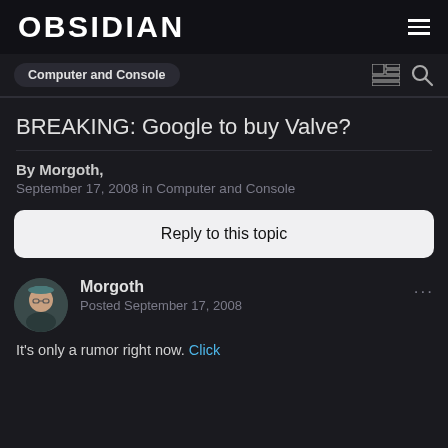OBSIDIAN
Computer and Console
BREAKING: Google to buy Valve?
By Morgoth, September 17, 2008 in Computer and Console
Reply to this topic
Morgoth
Posted September 17, 2008
It's only a rumor right now. Click